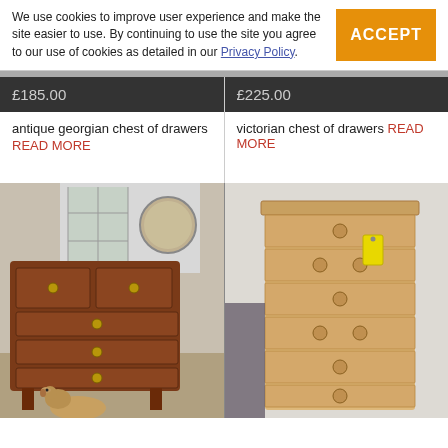We use cookies to improve user experience and make the site easier to use. By continuing to use the site you agree to our use of cookies as detailed in our Privacy Policy.
ACCEPT
£185.00
antique georgian chest of drawers READ MORE
[Figure (photo): Antique Georgian chest of drawers in dark mahogany with brass ring handles, with a small Yorkshire Terrier dog sitting in front on a carpeted floor. Window and round mirror visible in background.]
£225.00
victorian chest of drawers READ MORE
[Figure (photo): Victorian chest of drawers in light pine wood with round wooden knob handles and a yellow price tag, against a light wall background.]